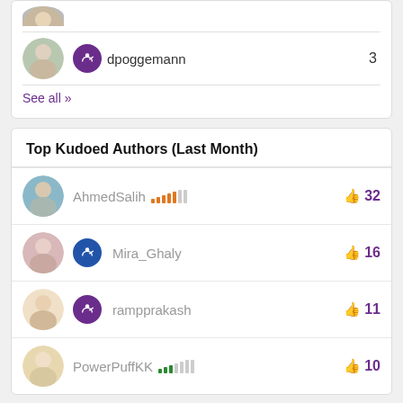[Figure (screenshot): Partial user row showing dpoggemann with avatar and badge, count 3, and See all link]
dpoggemann
3
See all >>
Top Kudoed Authors (Last Month)
AhmedSalih
32
Mira_Ghaly
16
rampprakash
11
PowerPuffKK
10